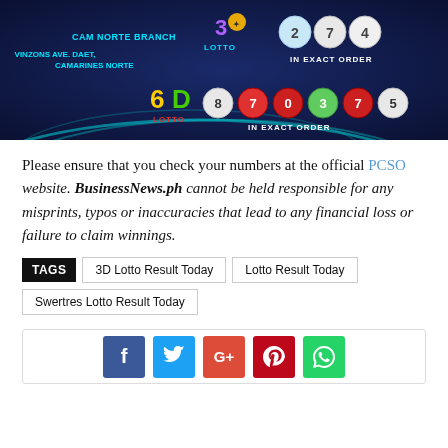[Figure (photo): Lotto results display showing 3D Lotto numbers 2, 7, 4 and 6D Lotto numbers 8, 7, 0, 3, 7, 5 in exact order, with CAM NORTE BRANCH and VINZONS AVE. DAET, CAMARINES NORTE text]
Please ensure that you check your numbers at the official PCSO website. BusinessNews.ph cannot be held responsible for any misprints, typos or inaccuracies that lead to any financial loss or failure to claim winnings.
TAGS: 3D Lotto Result Today | Lotto Result Today | Swertres Lotto Result Today
[Figure (other): Social sharing buttons: Facebook, Twitter, Google+, Pinterest, WhatsApp]